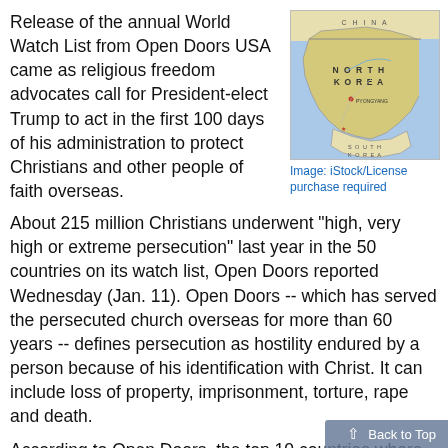Release of the annual World Watch List from Open Doors USA came as religious freedom advocates call for President-elect Trump to act in the first 100 days of his administration to protect Christians and other people of faith overseas.
[Figure (map): Political map of North Korea showing borders with China and South Korea, with country name labeled.]
Image: iStock/License purchase required
About 215 million Christians underwent "high, very high or extreme persecution" last year in the 50 countries on its watch list, Open Doors reported Wednesday (Jan. 11). Open Doors -- which has served the persecuted church overseas for more than 60 years -- defines persecution as hostility endured by a person because of his identification with Christ. It can include loss of property, imprisonment, torture, rape and death.
According to Open Doors, the top 10 countries where Christians face the most severe persecution and their totals on a 100-point system are: (1) North Korea, 92 points; (2) Somalia, 91; (3) Afghanistan, 89; (4) Pakistan, 88; (5) Sudan